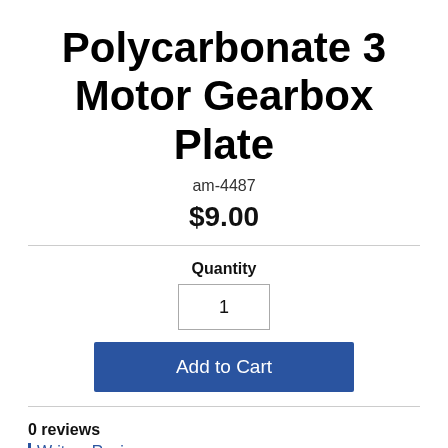Polycarbonate 3 Motor Gearbox Plate
am-4487
$9.00
Quantity
1
Add to Cart
0 reviews
Write a Review
Add to Wish List